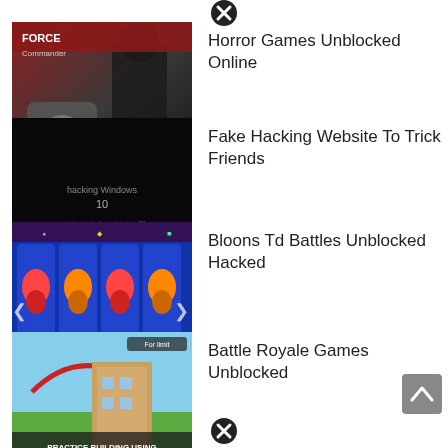[Figure (other): Close/X button circle icon at top center]
Horror Games Unblocked Online
Fake Hacking Website To Trick Friends
Bloons Td Battles Unblocked Hacked
Battle Royale Games Unblocked
[Figure (other): Scroll to top button at bottom right]
[Figure (other): Close/X button circle icon at bottom center]